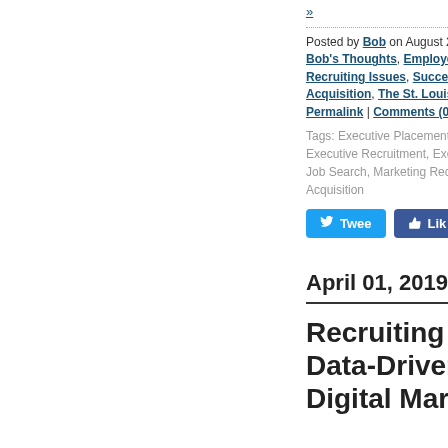»
Posted by Bob on August 27, 2019 at 10:09 AM in Bob's Thoughts, Employer Culture, Online Recruiting Issues, Succesion Planning, Talent Acquisition, The St. Louis Recruiting Market | Permalink | Comments (0)
Tags: Executive Placement, Executive Recruiting, Executive Recruitment, Executive Search, Hiring, Job Search, Marketing Recruiter, Recruiting, Talent Acquisition
April 01, 2019
Recruiting For That Data-Driven Art of Digital Marketing